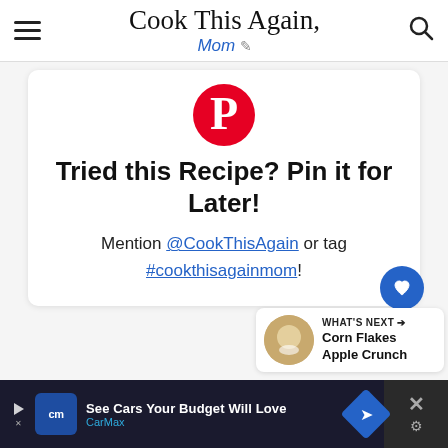Cook This Again, Mom
[Figure (logo): Pinterest logo - red P in circle]
Tried this Recipe? Pin it for Later!
Mention @CookThisAgain or tag #cookthisagainmom!
[Figure (infographic): What's Next callout with Corn Flakes Apple Crunch thumbnail]
[Figure (infographic): CarMax advertisement: See Cars Your Budget Will Love]